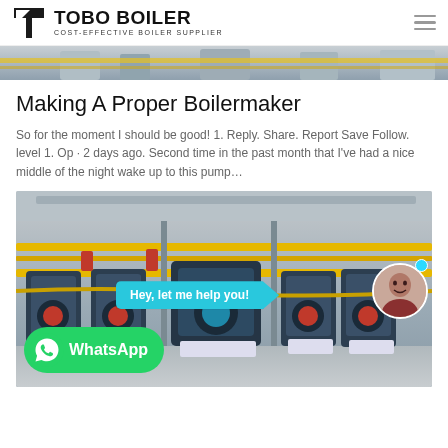TOBO BOILER COST-EFFECTIVE BOILER SUPPLIER
[Figure (photo): Partial top image of boiler room equipment, cropped strip]
Making A Proper Boilermaker
So for the moment I should be good! 1. Reply. Share. Report Save Follow. level 1. Op · 2 days ago. Second time in the past month that I've had a nice middle of the night wake up to this pump…
[Figure (photo): Industrial boiler room with multiple blue boilers, yellow pipes, red fittings. Overlay shows a cyan chat bubble saying 'Hey, let me help you!' with an avatar, and a WhatsApp button at the bottom left.]